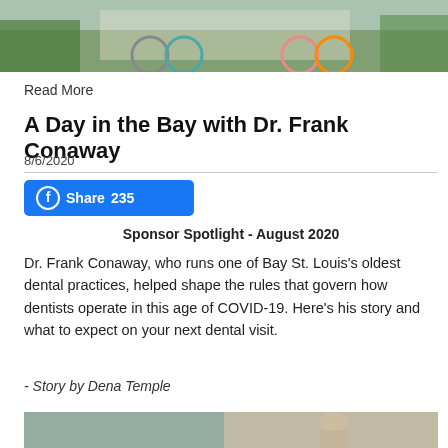[Figure (photo): Top banner photo showing bicycles parked outside a building with green plants]
Read More
A Day in the Bay with Dr. Frank Conaway
8/6/2020
[Figure (other): Facebook Share button showing 235 shares]
Sponsor Spotlight - August 2020
Dr. Frank Conaway, who runs one of Bay St. Louis's oldest dental practices, helped shape the rules that govern how dentists operate in this age of COVID-19. Here’s his story and what to expect on your next dental visit.
- Story by Dena Temple
[Figure (photo): Bottom photo partially visible showing two people, possibly in a dental office setting]